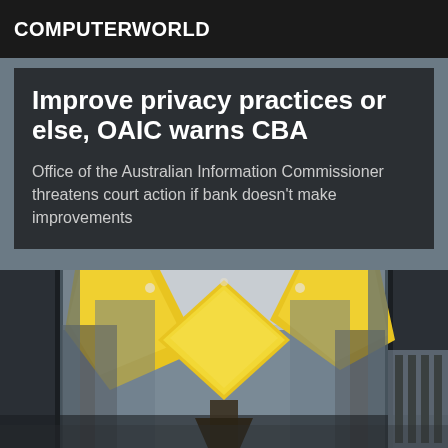COMPUTERWORLD
Improve privacy practices or else, OAIC warns CBA
Office of the Australian Information Commissioner threatens court action if bank doesn't make improvements
[Figure (photo): Interior of a Commonwealth Bank of Australia branch featuring large yellow diamond/rhombus shaped decorative elements on the ceiling, glass partitions, and modern architecture viewed from below looking upward.]